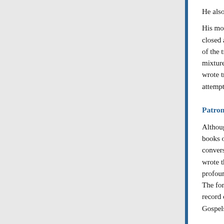He also married several Hindu princesses, though man
His moves from Islam, while welcomed by the Hindu closed and destroyed, that those who entered his Harem of the traditional Muslim Shahada, or declaration of fa mixture. Many members of the ulema began to protest wrote tracts rejecting the Shirk that he believed Akbar attempts at reconciling the two major faiths, by the enc
Patron of the art and literature
Although Akbar was illiterate, he had a fine literary tas books on various subjects, and was fond of the society conversant with Sufi, Christian, Zoroastrian, Hindu an wrote that "anybody who heard him arguing with acut profound erudition and never would have suspected hi The former was commissioned by Akbar to translate a record of the emperor's reign. It is also said that Akbar Gospels of the New Testament into Persian.
Akbar also possessed a fair taste of art, architecture an matchlocks. He erected a vast administrative machiner as mirror capable of reflecting a comprehensive outlin
Final years